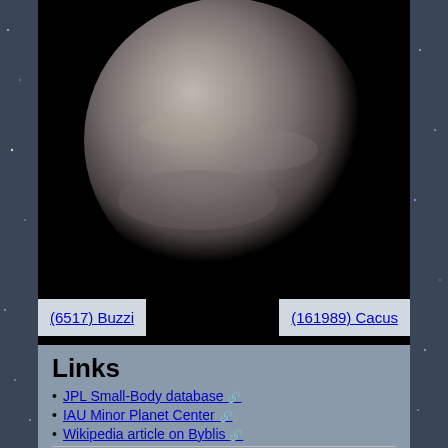[Figure (photo): Grayscale image of asteroid (9900) Byblis rendered as a 3D sphere model against a black background, with navigation links below showing (6517) Buzzi on the left and (161989) Cacus on the right]
Links
JPL Small-Body database [external link]
IAU Minor Planet Center [external link]
Wikipedia article on Byblis [external link]
Shape model data sources
Hanuš et al., Asteroids' physical models from combined dense and sparse photometry and scaling of the YORP effect by the observed obliquity distribution